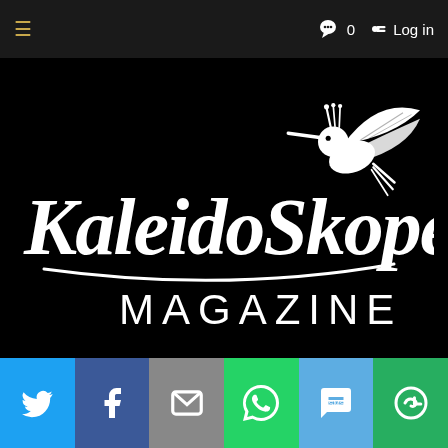≡   0  Log in
[Figure (logo): KaleidoSkope Magazine logo — white handwritten script text 'KaleidoSkope' with a hummingbird illustration, and 'MAGAZINE' in white uppercase sans-serif below, on a black background]
[Figure (infographic): Social sharing bar with six colored buttons: Twitter (blue bird icon), Facebook (blue f icon), Email (grey envelope icon), WhatsApp (green phone icon), SMS (blue SMS icon), More (green circle-arrow icon)]